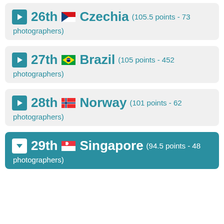26th Czechia (105.5 points - 73 photographers)
27th Brazil (105 points - 452 photographers)
28th Norway (101 points - 62 photographers)
29th Singapore (94.5 points - 48 photographers)